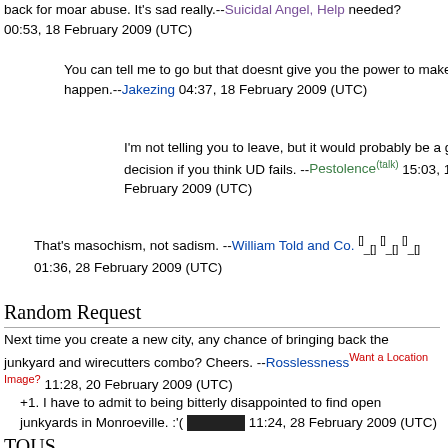back for moar abuse. It's sad really.--Suicidal Angel, Help needed? 00:53, 18 February 2009 (UTC)
You can tell me to go but that doesnt give you the power to make it happen.--Jakezing 04:37, 18 February 2009 (UTC)
I'm not telling you to leave, but it would probably be a good decision if you think UD fails. --Pestolence(talk) 15:03, 18 February 2009 (UTC)
That's masochism, not sadism. --William Told and Co. [symbols] 01:36, 28 February 2009 (UTC)
Random Request
Next time you create a new city, any chance of bringing back the junkyard and wirecutters combo? Cheers. --Rosslessness Want a Location Image? 11:28, 20 February 2009 (UTC)
+1. I have to admit to being bitterly disappointed to find open junkyards in Monroeville. :'( [redacted] 11:24, 28 February 2009 (UTC)
TOUS